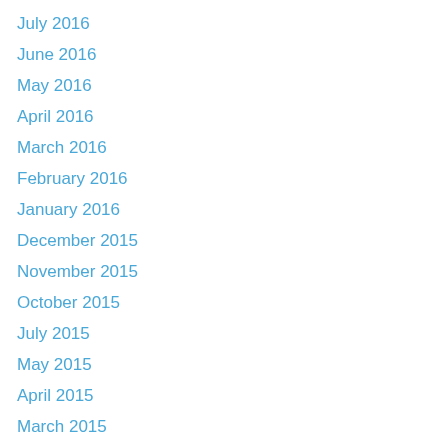July 2016
June 2016
May 2016
April 2016
March 2016
February 2016
January 2016
December 2015
November 2015
October 2015
July 2015
May 2015
April 2015
March 2015
February 2015
January 2015
December 2014
November 2014
October 2014
August 2014